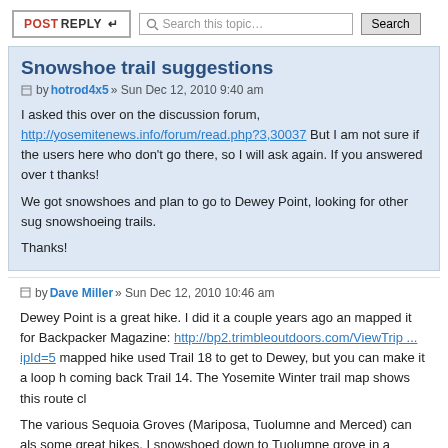POSTREPLY | Search this topic… Search
Snowshoe trail suggestions
by hotrod4x5 » Sun Dec 12, 2010 9:40 am
I asked this over on the discussion forum, http://yosemitenews.info/forum/read.php?3,30037 But I am not sure if there are users here who don't go there, so I will ask again. If you answered over there, thanks!

We got snowshoes and plan to go to Dewey Point, looking for other suggestions for snowshoeing trails.

Thanks!
by Dave Miller » Sun Dec 12, 2010 10:46 am
Dewey Point is a great hike. I did it a couple years ago an mapped it for Backpacker Magazine: http://bp2.trimbleoutdoors.com/ViewTrip ... ipId=5 mapped hike used Trail 18 to get to Dewey, but you can make it a loop hi coming back Trail 14. The Yosemite Winter trail map shows this route cle

The various Sequoia Groves (Mariposa, Tuolumne and Merced) can also some great hikes. I snowshoed down to Tuolumne grove in a heavy snow